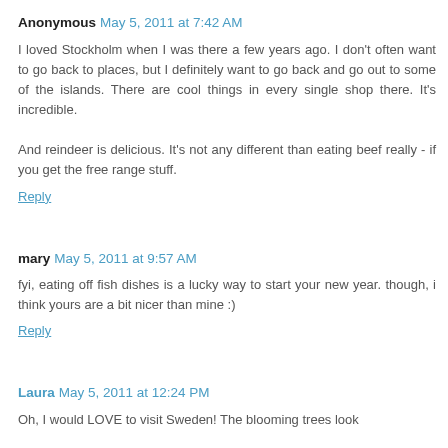Anonymous May 5, 2011 at 7:42 AM
I loved Stockholm when I was there a few years ago. I don't often want to go back to places, but I definitely want to go back and go out to some of the islands. There are cool things in every single shop there. It's incredible.

And reindeer is delicious. It's not any different than eating beef really - if you get the free range stuff.
Reply
mary May 5, 2011 at 9:57 AM
fyi, eating off fish dishes is a lucky way to start your new year. though, i think yours are a bit nicer than mine :)
Reply
Laura May 5, 2011 at 12:24 PM
Oh, I would LOVE to visit Sweden! The blooming trees look